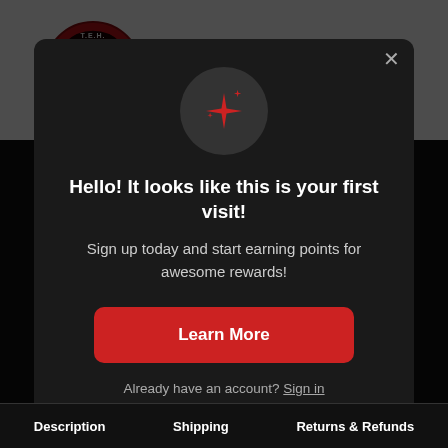[Figure (logo): Tactical Edge Hobbies logo with skull emblem in red circle and bold text 'TACTICAL EDGE HOBBIES']
[Figure (illustration): Dark modal popup with sparkle icon, heading, body text, and a Learn More button]
Hello! It looks like this is your first visit!
Sign up today and start earning points for awesome rewards!
Learn More
Already have an account? Sign in
Description   Shipping   Returns & Refunds